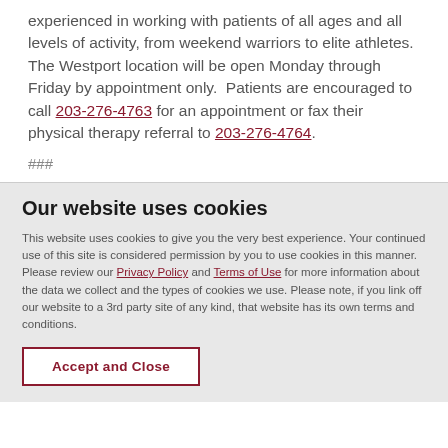experienced in working with patients of all ages and all levels of activity, from weekend warriors to elite athletes. The Westport location will be open Monday through Friday by appointment only.  Patients are encouraged to call 203-276-4763 for an appointment or fax their physical therapy referral to 203-276-4764.
###
Our website uses cookies
This website uses cookies to give you the very best experience. Your continued use of this site is considered permission by you to use cookies in this manner. Please review our Privacy Policy and Terms of Use for more information about the data we collect and the types of cookies we use. Please note, if you link off our website to a 3rd party site of any kind, that website has its own terms and conditions.
Accept and Close